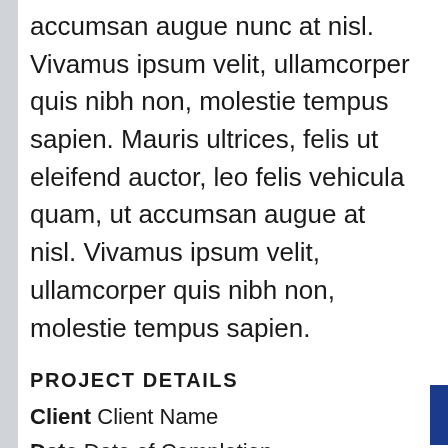accumsan augue nunc at nisl. Vivamus ipsum velit, ullamcorper quis nibh non, molestie tempus sapien. Mauris ultrices, felis ut eleifend auctor, leo felis vehicula quam, ut accumsan augue at nisl. Vivamus ipsum velit, ullamcorper quis nibh non, molestie tempus sapien.
PROJECT DETAILS
Client Client Name
Date Date of Completion
Skills Branding, Web Design